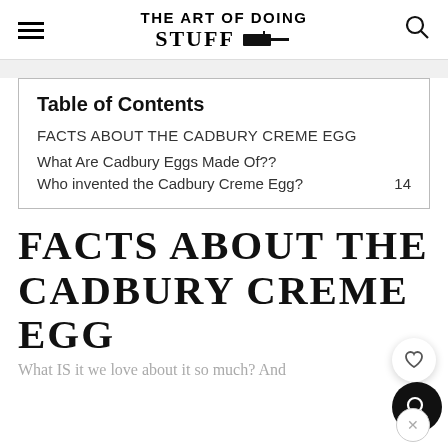THE ART OF DOING STUFF
Table of Contents
FACTS ABOUT THE CADBURY CREME EGG
What Are Cadbury Eggs Made Of??
Who invented the Cadbury Creme Egg?
FACTS ABOUT THE CADBURY CREME EGG
What IS it we love about it so much? And